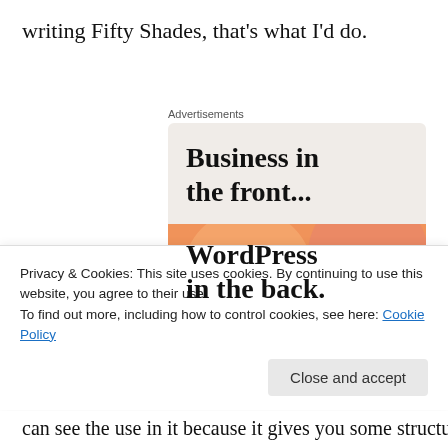writing Fifty Shades, that's what I'd do.
[Figure (infographic): Advertisement banner for WordPress. Top half shows 'Business in the front...' text on a light beige background. Bottom half shows 'WordPress in the back.' text on a colorful orange/pink gradient background with circular shapes.]
Privacy & Cookies: This site uses cookies. By continuing to use this website, you agree to their use.
To find out more, including how to control cookies, see here: Cookie Policy
Close and accept
can see the use in it because it gives you some structure